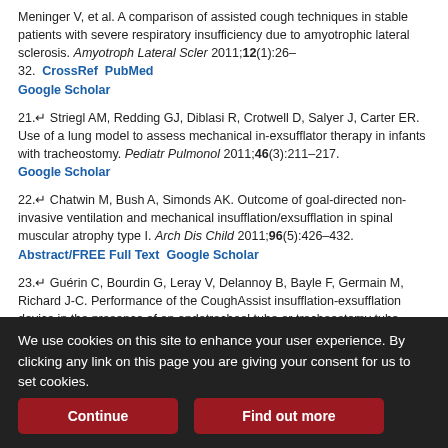Meninger V, et al. A comparison of assisted cough techniques in stable patients with severe respiratory insufficiency due to amyotrophic lateral sclerosis. Amyotroph Lateral Scler 2011;12(1):26–32. CrossRef PubMed Google Scholar
21. Striegl AM, Redding GJ, Diblasi R, Crotwell D, Salyer J, Carter ER. Use of a lung model to assess mechanical in-exsufflator therapy in infants with tracheostomy. Pediatr Pulmonol 2011;46(3):211–217. Google Scholar
22. Chatwin M, Bush A, Simonds AK. Outcome of goal-directed non-invasive ventilation and mechanical insufflation/exsufflation in spinal muscular atrophy type I. Arch Dis Child 2011;96(5):426–432. Abstract/FREE Full Text Google Scholar
23. Guérin C, Bourdin G, Leray V, Delannoy B, Bayle F, Germain M, Richard J-C. Performance of the CoughAssist insufflation-exsufflation device in the presence of an endotracheal tube or tracheostomy tube...
We use cookies on this site to enhance your user experience. By clicking any link on this page you are giving your consent for us to set cookies.